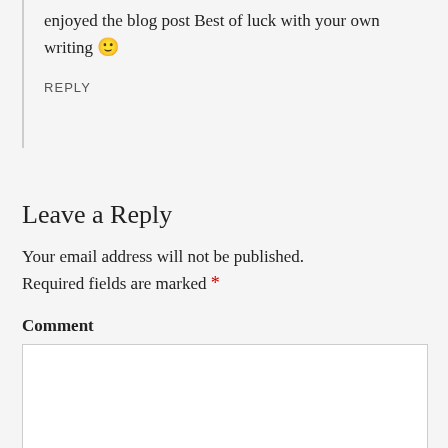enjoyed the blog post Best of luck with your own writing 🙂
REPLY
Leave a Reply
Your email address will not be published. Required fields are marked *
Comment